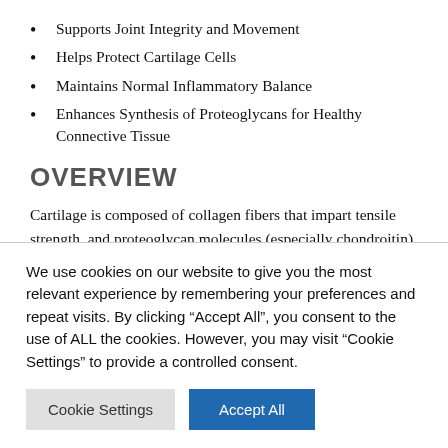Supports Joint Integrity and Movement
Helps Protect Cartilage Cells
Maintains Normal Inflammatory Balance
Enhances Synthesis of Proteoglycans for Healthy Connective Tissue
OVERVIEW
Cartilage is composed of collagen fibers that impart tensile strength, and proteoglycan molecules (especially chondroitin) that serve as a cushion for joint impact. Chondro-Flx combines glucosamine sulfate, chondroitin sulfate, vitamin C and
We use cookies on our website to give you the most relevant experience by remembering your preferences and repeat visits. By clicking “Accept All”, you consent to the use of ALL the cookies. However, you may visit “Cookie Settings” to provide a controlled consent.